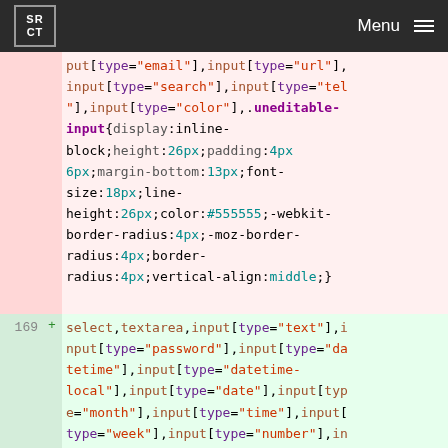SR CT | Menu
put[type="email"],input[type="url"],input[type="search"],input[type="tel"],input[type="color"],.uneditable-input{display:inline-block;height:26px;padding:4px 6px;margin-bottom:13px;font-size:18px;line-height:26px;color:#555555;-webkit-border-radius:4px;-moz-border-radius:4px;border-radius:4px;vertical-align:middle;}
169 + select,textarea,input[type="text"],input[type="password"],input[type="datetime"],input[type="datetime-local"],input[type="date"],input[type="month"],input[type="time"],input[type="week"],input[type="number"],input[type="email"],input[type="url"],input[type="search"],input[type="tel"],input[type="color"],.uneditable-input{display:inline-